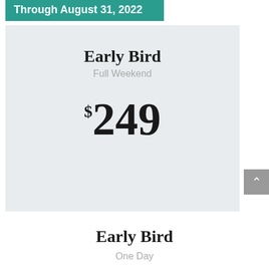Through August 31, 2022
Early Bird
Full Weekend
$249
Early Bird
One Day